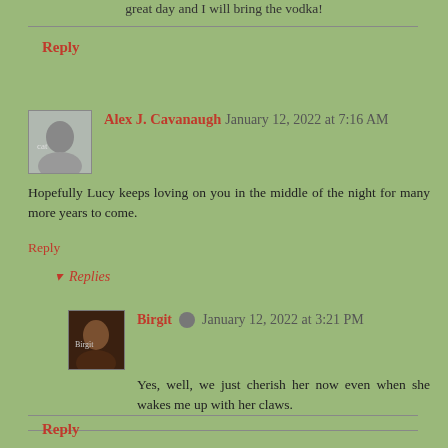great day and I will bring the vodka!
Reply
Alex J. Cavanaugh January 12, 2022 at 7:16 AM
Hopefully Lucy keeps loving on you in the middle of the night for many more years to come.
Reply
Replies
Birgit January 12, 2022 at 3:21 PM
Yes, well, we just cherish her now even when she wakes me up with her claws.
Reply
Brittani Burnham January 12, 2022 at 9:05 AM